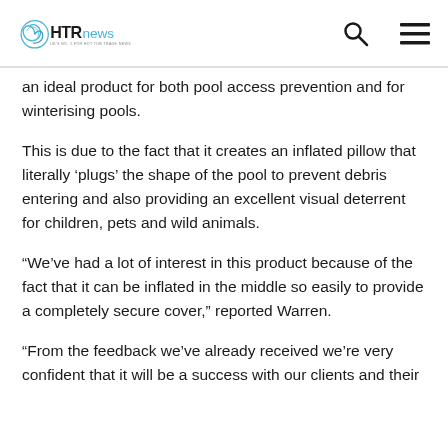HTR News — UK's No. 1 for Hot Tub Trade News
an ideal product for both pool access prevention and for winterising pools.
This is due to the fact that it creates an inflated pillow that literally 'plugs' the shape of the pool to prevent debris entering and also providing an excellent visual deterrent for children, pets and wild animals.
“We’ve had a lot of interest in this product because of the fact that it can be inflated in the middle so easily to provide a completely secure cover,” reported Warren.
“From the feedback we’ve already received we’re very confident that it will be a success with our clients and their